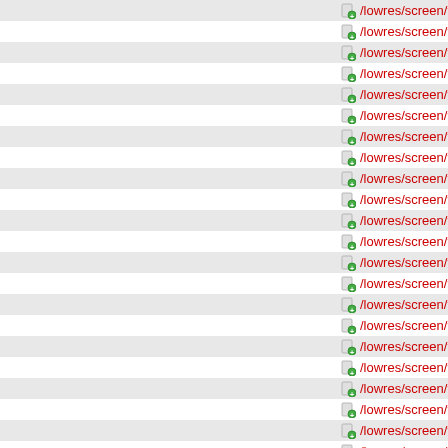/lowres/screen/fonts/menu_small/4679_16.png
/lowres/screen/fonts/menu_small/4680.png
/lowres/screen/fonts/menu_small/4680_16.png
/lowres/screen/fonts/menu_small/4681.png
/lowres/screen/fonts/menu_small/4681_16.png
/lowres/screen/fonts/menu_small/4682.png
/lowres/screen/fonts/menu_small/4682_16.png
/lowres/screen/fonts/menu_small/4683.png
/lowres/screen/fonts/menu_small/4683_16.png
/lowres/screen/fonts/menu_small/4684.png
/lowres/screen/fonts/menu_small/4684_16.png
/lowres/screen/fonts/menu_small/4685.png
/lowres/screen/fonts/menu_small/4685_16.png
/lowres/screen/fonts/menu_small/4686.png
/lowres/screen/fonts/menu_small/4686_16.png
/lowres/screen/fonts/menu_small/4687.png
/lowres/screen/fonts/menu_small/4687_16.png
/lowres/screen/fonts/menu_small/4688.png
/lowres/screen/fonts/menu_small/4688_16.png
/lowres/screen/fonts/menu_small/4689.png
/lowres/screen/fonts/menu_small/4689_16.png
/lowres/screen/fonts/menu_small/4690.png